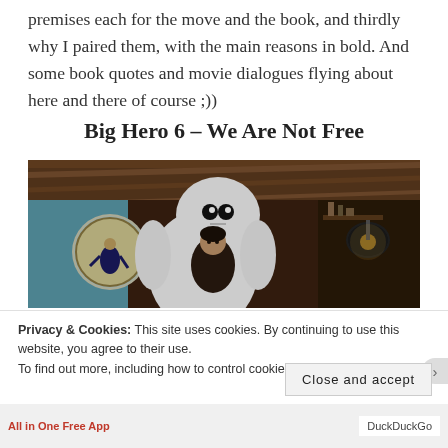premises each for the move and the book, and thirdly why I paired them, with the main reasons in bold. And some book quotes and movie dialogues flying about here and there of course ;))
Big Hero 6 – We Are Not Free
[Figure (photo): Movie still from Big Hero 6 showing Baymax (large white inflatable robot) hugging Hiro, with a superhero poster on the wall in the background and a lamp visible on the right side, set in an attic-style room.]
Privacy & Cookies: This site uses cookies. By continuing to use this website, you agree to their use.
To find out more, including how to control cookies, see here: Cookie Policy
Close and accept